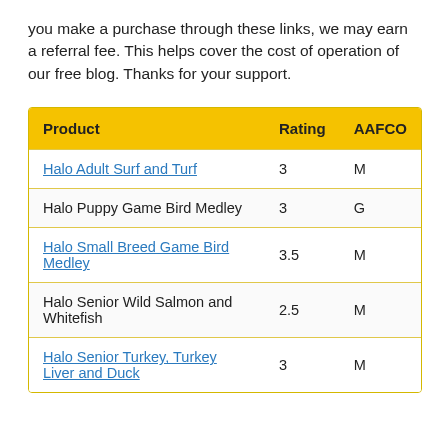you make a purchase through these links, we may earn a referral fee. This helps cover the cost of operation of our free blog. Thanks for your support.
| Product | Rating | AAFCO |
| --- | --- | --- |
| Halo Adult Surf and Turf | 3 | M |
| Halo Puppy Game Bird Medley | 3 | G |
| Halo Small Breed Game Bird Medley | 3.5 | M |
| Halo Senior Wild Salmon and Whitefish | 2.5 | M |
| Halo Senior Turkey, Turkey Liver and Duck | 3 | M |